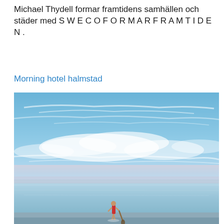Michael Thydell formar framtidens samhällen och städer med S W E C O F O R M A R F R A M T I D E N .
Morning hotel halmstad
[Figure (photo): Coastal beach scene at dusk with a dramatic blue sky filled with wispy clouds. A lone person in red swimwear stands at the water's edge holding a paddleboard or oar, facing the calm sea. The horizon line is low, giving prominence to the expansive sky.]